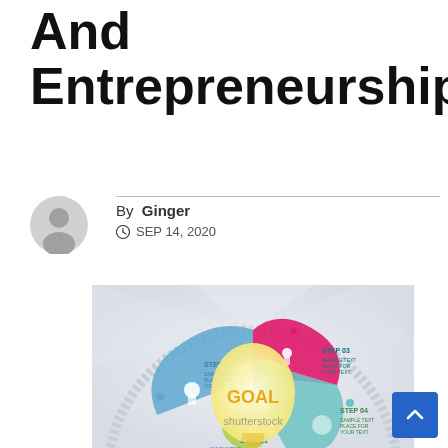And Entrepreneurship
By Ginger
SEP 14, 2020
[Figure (infographic): Circular step infographic with 4 steps (STEP 01, STEP 02, STEP 03, STEP 04) around a central GOAL lightbulb. Each step has an icon and placeholder text 'SAMPLE TEXT PLACE FOR YOUR TEXT.' Colors: blue, pink/magenta, teal/cyan, green. Shutterstock watermark visible.]